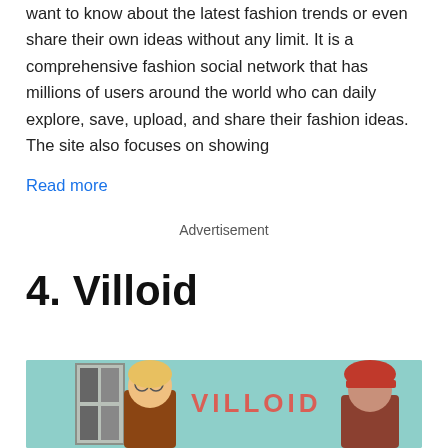want to know about the latest fashion trends or even share their own ideas without any limit. It is a comprehensive fashion social network that has millions of users around the world who can daily explore, save, upload, and share their fashion ideas. The site also focuses on showing
Read more
Advertisement
4. Villoid
[Figure (photo): Photo showing two women in front of a teal/mint green background with the word VILLOID in coral/red letters. A framed artwork is visible on the left. One woman has blonde hair and glasses, the other wears a red/pink hat.]